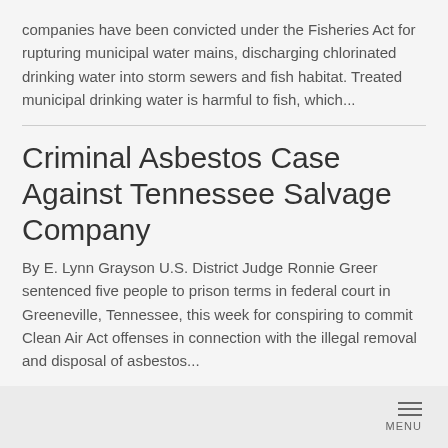companies have been convicted under the Fisheries Act for rupturing municipal water mains, discharging chlorinated drinking water into storm sewers and fish habitat. Treated municipal drinking water is harmful to fish, which...
Criminal Asbestos Case Against Tennessee Salvage Company
By E. Lynn Grayson U.S. District Judge Ronnie Greer sentenced five people to prison terms in federal court in Greeneville, Tennessee, this week for conspiring to commit Clean Air Act offenses in connection with the illegal removal and disposal of asbestos...
MENU